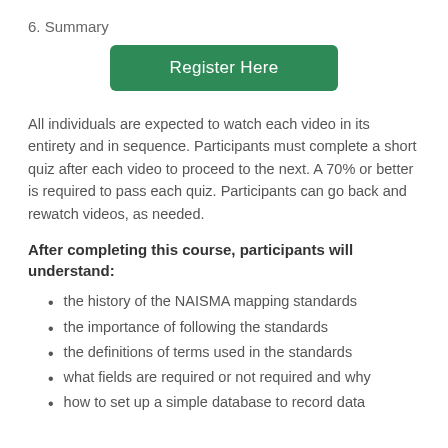6. Summary
[Figure (other): Green 'Register Here' button]
All individuals are expected to watch each video in its entirety and in sequence. Participants must complete a short quiz after each video to proceed to the next. A 70% or better is required to pass each quiz. Participants can go back and rewatch videos, as needed.
After completing this course, participants will understand:
the history of the NAISMA mapping standards
the importance of following the standards
the definitions of terms used in the standards
what fields are required or not required and why
how to set up a simple database to record data